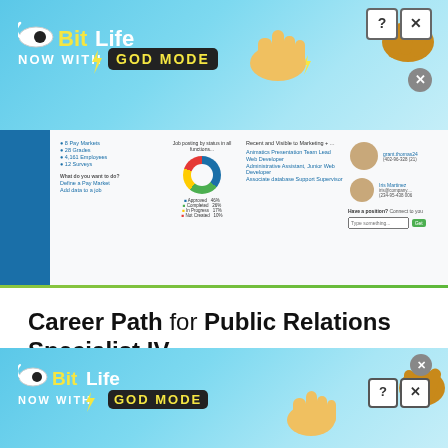[Figure (screenshot): BitLife 'Now with God Mode' advertisement banner at the top of the page with blue background, animated hands, and close/question buttons]
[Figure (screenshot): Screenshot of a job market analytics website showing donut chart, employee statistics (8 Pay Markets, 28 Grades, 4,161 Employees, 12 Surveys), and profile photos]
Career Path for Public Relations Specialist IV
This site uses cookies and other similar technologies to provide site functionality, analyze traffic and usage, and
[Figure (screenshot): BitLife 'Now with God Mode' advertisement banner at the bottom of the page with blue background, animated hands, and close buttons]